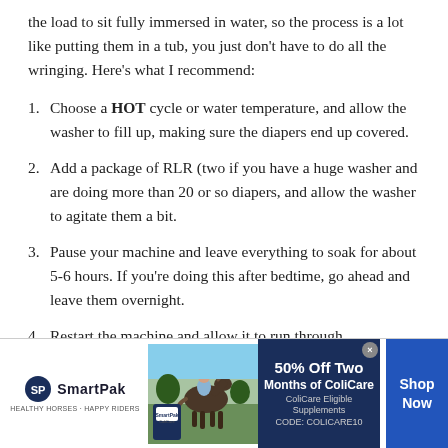the load to sit fully immersed in water, so the process is a lot like putting them in a tub, you just don't have to do all the wringing. Here's what I recommend:
1. Choose a HOT cycle or water temperature, and allow the washer to fill up, making sure the diapers end up covered.
2. Add a package of RLR (two if you have a huge washer and are doing more than 20 or so diapers, and allow the washer to agitate them a bit.
3. Pause your machine and leave everything to soak for about 5-6 hours. If you're doing this after bedtime, go ahead and leave them overnight.
4. Restart the machine and allow it to run through
[Figure (advertisement): SmartPak advertisement showing 50% Off Two Months of ColiCare, ColiCare Eligible Supplements, CODE: COLICARE10, with Shop Now button]